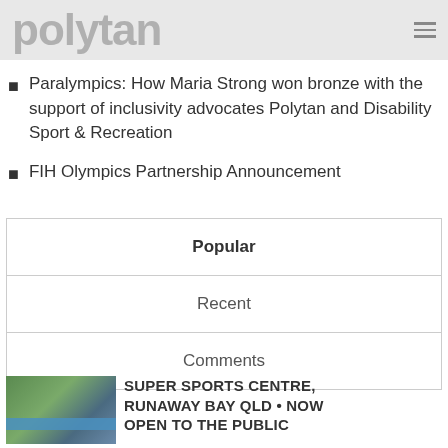polytan
Paralympics: How Maria Strong won bronze with the support of inclusivity advocates Polytan and Disability Sport & Recreation
FIH Olympics Partnership Announcement
Popular
Recent
Comments
SUPER SPORTS CENTRE, RUNAWAY BAY QLD • NOW OPEN TO THE PUBLIC